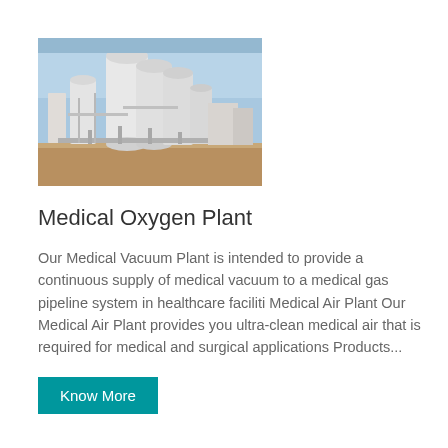[Figure (photo): Industrial medical oxygen plant facility with large white storage tanks/silos and piping infrastructure under a blue sky]
Medical Oxygen Plant
Our Medical Vacuum Plant is intended to provide a continuous supply of medical vacuum to a medical gas pipeline system in healthcare faciliti Medical Air Plant Our Medical Air Plant provides you ultra-clean medical air that is required for medical and surgical applications Products...
Know More